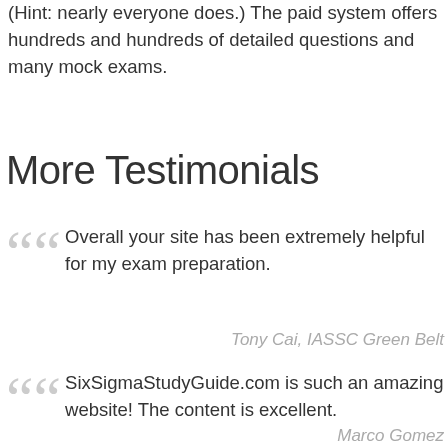(Hint: nearly everyone does.) The paid system offers hundreds and hundreds of detailed questions and many mock exams.
More Testimonials
Overall your site has been extremely helpful for my exam preparation.
Tony Cai, IASSC Green Belt
SixSigmaStudyGuide.com is such an amazing website! The content is excellent.
Marco Gomez